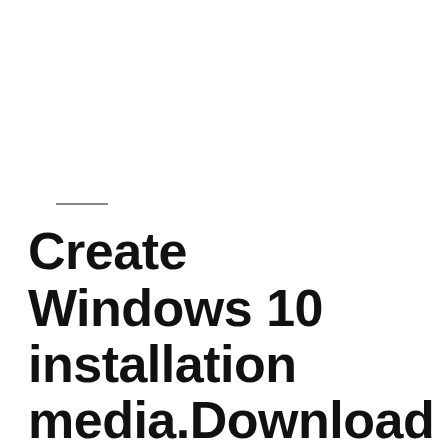Create Windows 10 installation media.Download